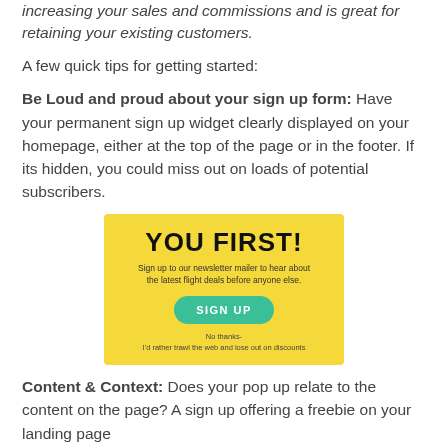increasing your sales and commissions and is great for retaining your existing customers.
A few quick tips for getting started:
Be Loud and proud about your sign up form: Have your permanent sign up widget clearly displayed on your homepage, either at the top of the page or in the footer. If its hidden, you could miss out on loads of potential subscribers.
[Figure (screenshot): Yellow signup widget box with 'YOU FIRST!' heading, subtitle about newsletter flight deals, a teal 'SIGN UP' button, and small 'No thanks' link text below]
Content & Context: Does your pop up relate to the content on the page? A sign up offering a freebie on your landing page